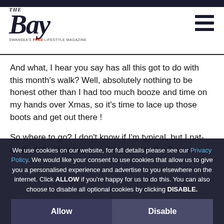The Bay — Swansea's Free Lifestyle Magazine
And what, I hear you say has all this got to do with this month's walk? Well, absolutely nothing to be honest other than I had too much booze and time on my hands over Xmas, so it's time to lace up those boots and get out there !
So where to go? I don't know if I'm typical, but I naturally drift either towards Gower, or to the Beacons...
We use cookies on our website, for full details please see our Privacy Policy. We would like your consent to use cookies that allow us to give you a personalised experience and advertise to you elsewhere on the internet. Click ALLOW if you're happy for us to do this. You can also choose to disable all optional cookies by clicking DISABLE.